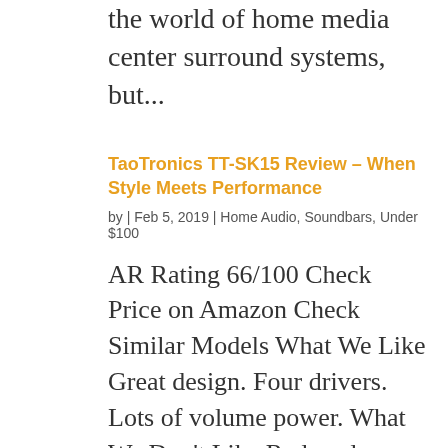the world of home media center surround systems, but...
TaoTronics TT-SK15 Review – When Style Meets Performance
by | Feb 5, 2019 | Home Audio, Soundbars, Under $100
AR Rating 66/100 Check Price on Amazon Check Similar Models What We Like Great design. Four drivers. Lots of volume power. What We Don't Like Reduced versatility. TaoTronics is one of those brands that prove that affordable soundbars don't need to look or feel cheap....